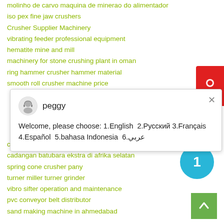molinho de carvo maquina de minerao do alimentador
iso pex fine jaw crushers
Crusher Supplier Machinery
vibrating feeder professional equipment
hematite mine and mill
machinery for stone crushing plant in oman
ring hammer crusher hammer material
smooth roll crusher machine price
[Figure (screenshot): Chat popup with avatar of 'peggy', showing welcome message in multiple languages: Welcome, please choose: 1.English 2.Русский 3.Français 4.Español 5.bahasa Indonesia 6.عربي]
crushing machine in south africa Mining
cadangan batubara ekstra di afrika selatan
spring cone crusher pany
turner miller turner grinder
vibro sifter operation and maintenance
pvc conveyor belt distributor
sand making machine in ahmedabad